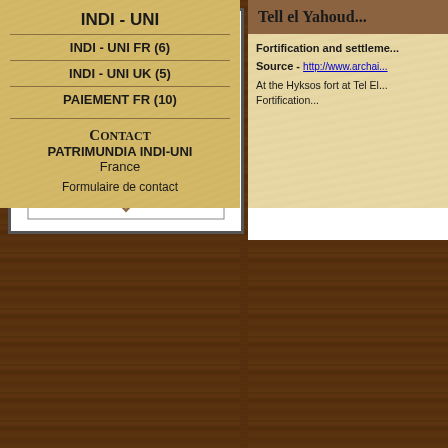[Figure (logo): Patrimundia logo: white box with diamond shape containing two ancient bust profiles facing each other]
PATRIMUNDIA'S
INDI
ARCHE
Vivez l'Aventure de l'Archéo...
INDI - UNI
INDI - UNI FR (6)
INDI - UNI UK (5)
PAIEMENT FR (10)
CONTACT PATRIMUNDIA INDI-UNI France
Formulaire de contact
Tell el Yahoud...
Fortification and settlement...
Source - http://www.archai...
At the Hyksos fort at Tel El... Fortification...